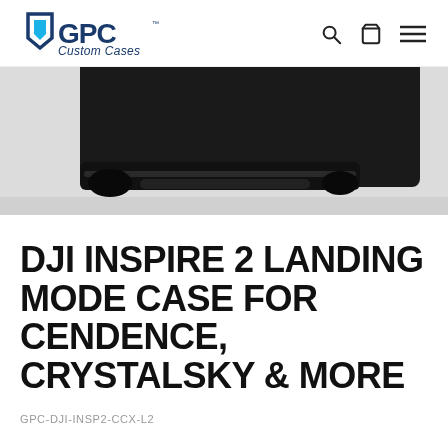GPC Custom Cases — navigation header with logo, search, cart, and menu icons
[Figure (photo): Close-up photo of a black hard-shell custom case (GPC case) showing the corner and latching edge detail on a light grey background]
DJI INSPIRE 2 LANDING MODE CASE FOR CENDENCE, CRYSTALSKY & MORE
GPC-DJI-INSP2-CCX-L2